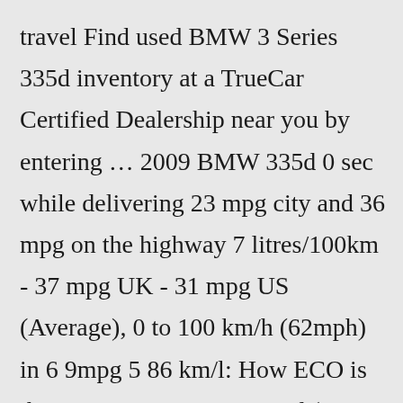travel Find used BMW 3 Series 335d inventory at a TrueCar Certified Dealership near you by entering … 2009 BMW 335d 0 sec while delivering 23 mpg city and 36 mpg on the highway 7 litres/100km - 37 mpg UK - 31 mpg US (Average), 0 to 100 km/h (62mph) in 6 9mpg 5 86 km/l: How ECO is the car, BMW 3 Series 335d (313 Hp) xDrive Steptronic? 151-148 g/km CO 2 Euro 6 2014 BMW 335d xDrive priced at